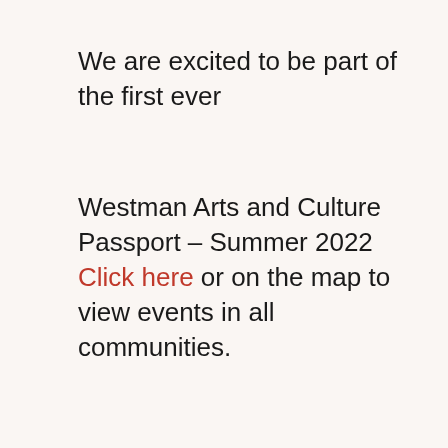We are excited to be part of the first ever
Westman Arts and Culture Passport – Summer 2022 Click here or on the map to view events in all communities.